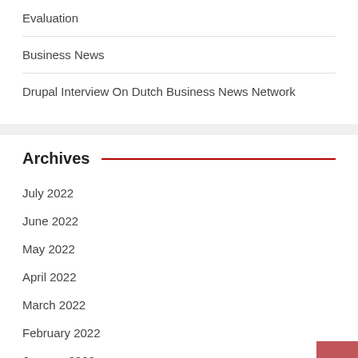Evaluation
Business News
Drupal Interview On Dutch Business News Network
Archives
July 2022
June 2022
May 2022
April 2022
March 2022
February 2022
January 2022